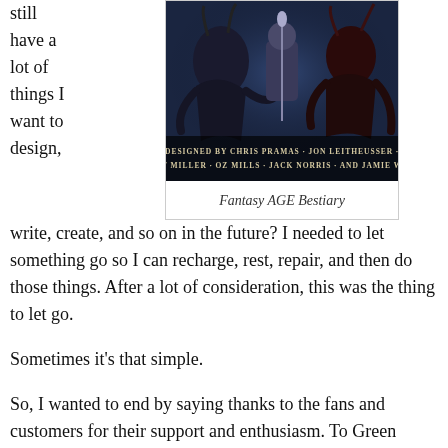still have a lot of things I want to design,
[Figure (illustration): Fantasy AGE Bestiary book cover artwork showing dark fantasy creatures with text 'DESIGNED BY CHRIS PRAMAS, JON LEITHEUSSER, MATT MILLER, OZ MILLS, JACK NORRIS, AND JAMIE WOOD']
Fantasy AGE Bestiary
write, create, and so on in the future? I needed to let something go so I can recharge, rest, repair, and then do those things. After a lot of consideration, this was the thing to let go.
Sometimes it's that simple.
So, I wanted to end by saying thanks to the fans and customers for their support and enthusiasm. To Green Ronin, I want to say thanks for the opportunities to put my stamp on not one but three of the company's lines (and that's not even counting the various Mutants and Masterminds projects I was able to contribute to). To